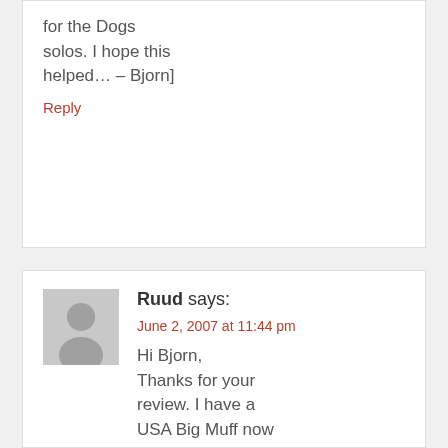for the Dogs solos. I hope this helped… – Bjorn]
Reply
Ruud says:
June 2, 2007 at 11:44 pm
Hi Bjorn, Thanks for your review. I have a USA Big Muff now and it sounds terrible. Right now I use the GT 6 in combination with BD2, Dynacomp but I'm looking for a alternative to